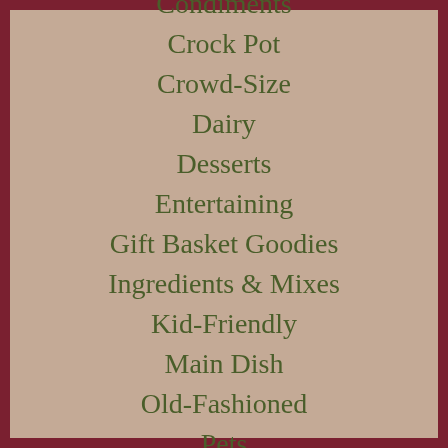Condiments
Crock Pot
Crowd-Size
Dairy
Desserts
Entertaining
Gift Basket Goodies
Ingredients & Mixes
Kid-Friendly
Main Dish
Old-Fashioned
Pets